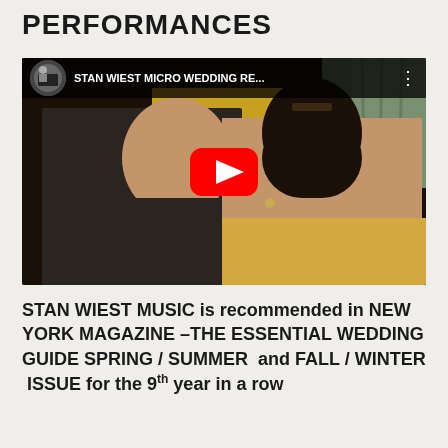PERFORMANCES
[Figure (screenshot): YouTube video thumbnail showing a bride and groom posing together at a wedding reception. The video title reads 'STAN WIEST MICRO WEDDING RE...' with a YouTube play button overlay. The channel avatar shows a man at a piano.]
STAN WIEST MUSIC is recommended in NEW YORK MAGAZINE –THE ESSENTIAL WEDDING GUIDE SPRING / SUMMER  and FALL / WINTER  ISSUE for the 9th year in a row